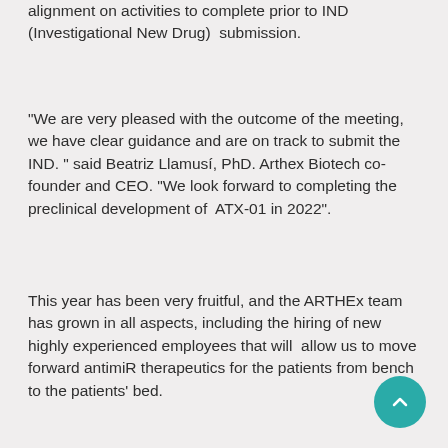alignment on activities to complete prior to IND (Investigational New Drug)  submission.
"We are very pleased with the outcome of the meeting, we have clear guidance and are on track to submit the IND. " said Beatriz Llamusí, PhD. Arthex Biotech co-founder and CEO. "We look forward to completing the preclinical development of  ATX-01 in 2022".
This year has been very fruitful, and the ARTHEx team has grown in all aspects, including the hiring of new highly experienced employees that will  allow us to move forward antimiR therapeutics for the patients from bench to the patients' bed.